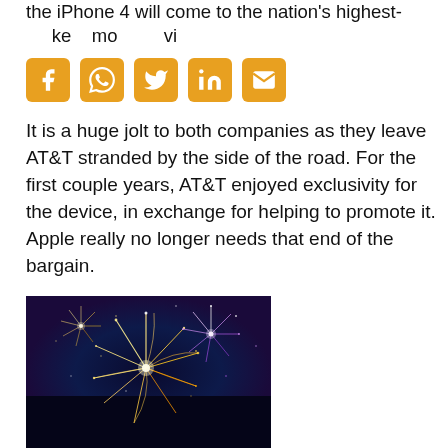the iPhone 4 will come to the nation's highest-kept mobile device.
[Figure (other): Social sharing icons: Facebook, WhatsApp, Twitter, LinkedIn, Email]
It is a huge jolt to both companies as they leave AT&T stranded by the side of the road. For the first couple years, AT&T enjoyed exclusivity for the device, in exchange for helping to promote it. Apple really no longer needs that end of the bargain.
[Figure (photo): Fireworks exploding against a dark night sky with blue and purple hues]